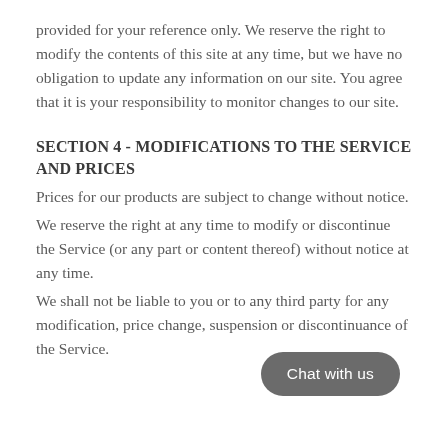provided for your reference only. We reserve the right to modify the contents of this site at any time, but we have no obligation to update any information on our site. You agree that it is your responsibility to monitor changes to our site.
SECTION 4 - MODIFICATIONS TO THE SERVICE AND PRICES
Prices for our products are subject to change without notice.
We reserve the right at any time to modify or discontinue the Service (or any part or content thereof) without notice at any time.
We shall not be liable to you or to any third party for any modification, price change, suspension or discontinuance of the Service.
[Figure (other): Chat with us button overlay in bottom right corner]